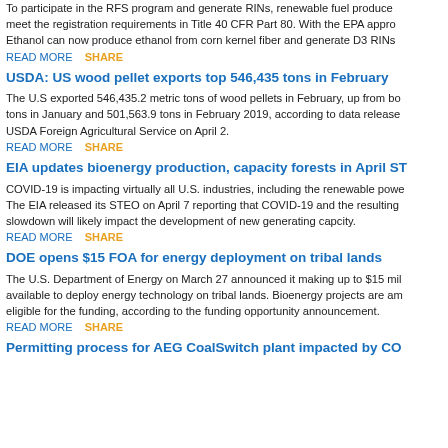To participate in the RFS program and generate RINs, renewable fuel producers must meet the registration requirements in Title 40 CFR Part 80. With the EPA approval, Ethanol can now produce ethanol from corn kernel fiber and generate D3 RINs.
READ MORE   SHARE
USDA: US wood pellet exports top 546,435 tons in February
The U.S exported 546,435.2 metric tons of wood pellets in February, up from both tons in January and 501,563.9 tons in February 2019, according to data released by USDA Foreign Agricultural Service on April 2.
READ MORE   SHARE
EIA updates bioenergy production, capacity forests in April ST
COVID-19 is impacting virtually all U.S. industries, including the renewable power. The EIA released its STEO on April 7 reporting that COVID-19 and the resulting slowdown will likely impact the development of new generating capcity.
READ MORE   SHARE
DOE opens $15 FOA for energy deployment on tribal lands
The U.S. Department of Energy on March 27 announced it making up to $15 million available to deploy energy technology on tribal lands. Bioenergy projects are among eligible for the funding, according to the funding opportunity announcement.
READ MORE   SHARE
Permitting process for AEG CoalSwitch plant impacted by CO